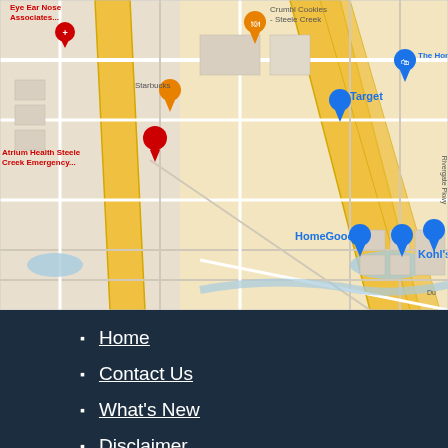[Figure (map): Google Maps satellite/street view showing Steele Creek area in Charlotte, NC. Visible landmarks include Eye Ear Nose Associates, Crumbl Cookies - Steele Creek, Starbucks, Atrium Health Steele Creek Emergency, The Home Depot, Target, HomeGoods, and Kohl's. Yellow highway and road network visible with blue water features.]
Home
Contact Us
What's New
Disclaimer
Privacy Policy